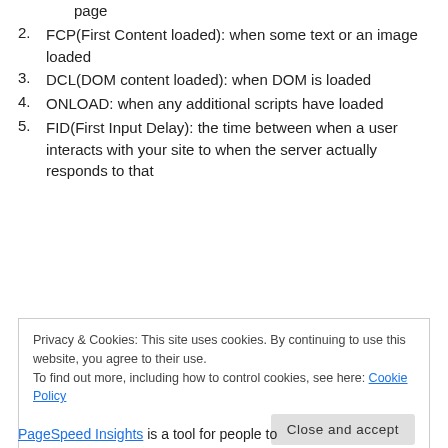page
FCP(First Content loaded): when some text or an image loaded
DCL(DOM content loaded): when DOM is loaded
ONLOAD: when any additional scripts have loaded
FID(First Input Delay): the time between when a user interacts with your site to when the server actually responds to that
Privacy & Cookies: This site uses cookies. By continuing to use this website, you agree to their use.
To find out more, including how to control cookies, see here: Cookie Policy
Close and accept
PageSpeed Insights is a tool for people to